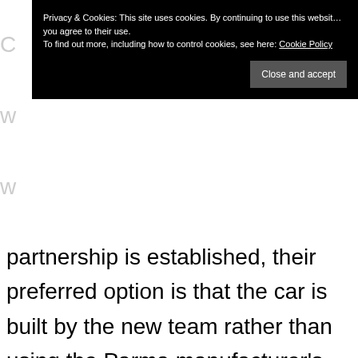Privacy & Cookies: This site uses cookies. By continuing to use this website, you agree to their use. To find out more, including how to control cookies, see here: Cookie Policy
Close and accept
partnership is established, their preferred option is that the car is built by the new team rather than using the Parma manufacturer's factory.
Further, the name of another ex-F1 senior figure is being linked with Haas, that of Norbert Haug. Whilst both Haug and Domenicali have a wealth of